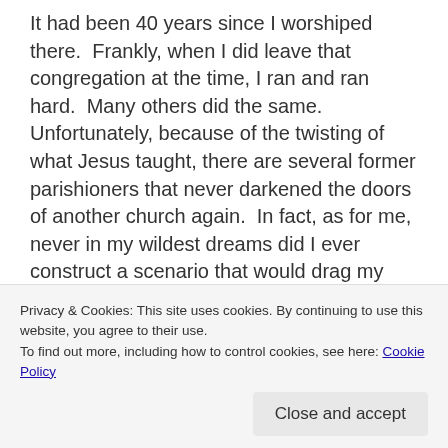It had been 40 years since I worshiped there.  Frankly, when I did leave that congregation at the time, I ran and ran hard.  Many others did the same.  Unfortunately, because of the twisting of what Jesus taught, there are several former parishioners that never darkened the doors of another church again.  In fact, as for me, never in my wildest dreams did I ever construct a scenario that would drag my feet across the threshold of the front door of that place.  There is much to tell here, but I will spare you the gory details.  Just know, even as a teen, I knew the scent of harmful and secretive inner-church politics, dominated by a corrupt dictator of a pastor.
Privacy & Cookies: This site uses cookies. By continuing to use this website, you agree to their use.
To find out more, including how to control cookies, see here: Cookie Policy
Close and accept
office.  This species of spiritual abuse stunts spiritual